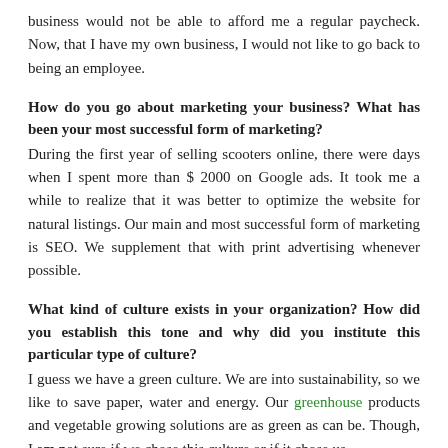business would not be able to afford me a regular paycheck. Now, that I have my own business, I would not like to go back to being an employee.
How do you go about marketing your business? What has been your most successful form of marketing?
During the first year of selling scooters online, there were days when I spent more than $ 2000 on Google ads. It took me a while to realize that it was better to optimize the website for natural listings. Our main and most successful form of marketing is SEO. We supplement that with print advertising whenever possible.
What kind of culture exists in your organization? How did you establish this tone and why did you institute this particular type of culture?
I guess we have a green culture. We are into sustainability, so we like to save paper, water and energy. Our greenhouse products and vegetable growing solutions are as green as can be. Though, I am not sure if we chose this culture or if it chose us.